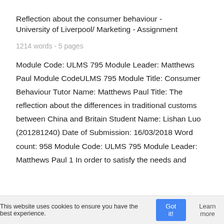Reflection about the consumer behaviour - University of Liverpool/ Marketing - Assignment
1214 words - 5 pages
Module Code: ULMS 795 Module Leader: Matthews Paul Module Code​ULMS 795 Module Title: Consumer Behaviour Tutor Name: Matthews Paul Title: The reflection about the differences in traditional customs between China and Britain Student Name: Lishan Luo (201281240) Date of Submission: 16/03/2018 Word count: 958 Module Code: ULMS 795 Module Leader: Matthews Paul 1 In order to satisfy the needs and
This website uses cookies to ensure you have the best experience.   Got it!   Learn more